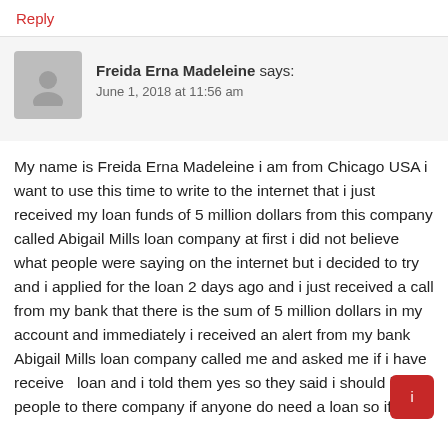Reply
Freida Erna Madeleine says:
June 1, 2018 at 11:56 am
My name is Freida Erna Madeleine i am from Chicago USA i want to use this time to write to the internet that i just received my loan funds of 5 million dollars from this company called Abigail Mills loan company at first i did not believe what people were saying on the internet but i decided to try and i applied for the loan 2 days ago and i just received a call from my bank that there is the sum of 5 million dollars in my account and immediately i received an alert from my bank Abigail Mills loan company called me and asked me if i have received loan and i told them yes so they said i should bring people to there company if anyone do need a loan so if